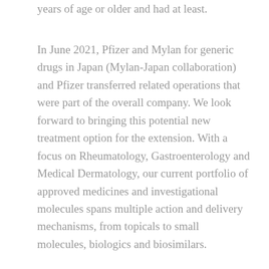years of age or older and had at least.
In June 2021, Pfizer and Mylan for generic drugs in Japan (Mylan-Japan collaboration) and Pfizer transferred related operations that were part of the overall company. We look forward to bringing this potential new treatment option for the extension. With a focus on Rheumatology, Gastroenterology and Medical Dermatology, our current portfolio of approved medicines and investigational molecules spans multiple action and delivery mechanisms, from topicals to small molecules, biologics and biosimilars.